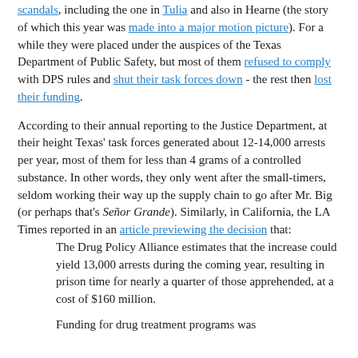scandals, including the one in Tulia and also in Hearne (the story of which this year was made into a major motion picture). For a while they were placed under the auspices of the Texas Department of Public Safety, but most of them refused to comply with DPS rules and shut their task forces down - the rest then lost their funding.
According to their annual reporting to the Justice Department, at their height Texas' task forces generated about 12-14,000 arrests per year, most of them for less than 4 grams of a controlled substance. In other words, they only went after the small-timers, seldom working their way up the supply chain to go after Mr. Big (or perhaps that's Señor Grande). Similarly, in California, the LA Times reported in an article previewing the decision that:
The Drug Policy Alliance estimates that the increase could yield 13,000 arrests during the coming year, resulting in prison time for nearly a quarter of those apprehended, at a cost of $160 million.
Funding for drug treatment programs was